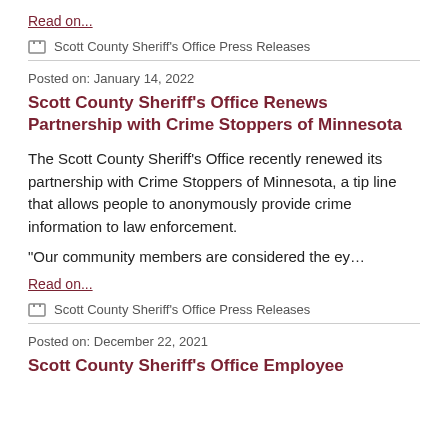Read on...
Scott County Sheriff's Office Press Releases
Posted on: January 14, 2022
Scott County Sheriff's Office Renews Partnership with Crime Stoppers of Minnesota
The Scott County Sheriff's Office recently renewed its partnership with Crime Stoppers of Minnesota, a tip line that allows people to anonymously provide crime information to law enforcement.
“Our community members are considered the ey…
Read on...
Scott County Sheriff's Office Press Releases
Posted on: December 22, 2021
Scott County Sheriff's Office Employee